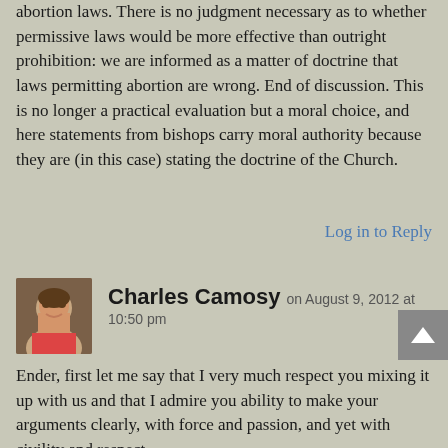abortion laws. There is no judgment necessary as to whether permissive laws would be more effective than outright prohibition: we are informed as a matter of doctrine that laws permitting abortion are wrong. End of discussion. This is no longer a practical evaluation but a moral choice, and here statements from bishops carry moral authority because they are (in this case) stating the doctrine of the Church.
Log in to Reply
Charles Camosy on August 9, 2012 at 10:50 pm
Ender, first let me say that I very much respect you mixing it up with us and that I admire you ability to make your arguments clearly, with force and passion, and yet with civility and respect.
Second, however, let me say that I just don't